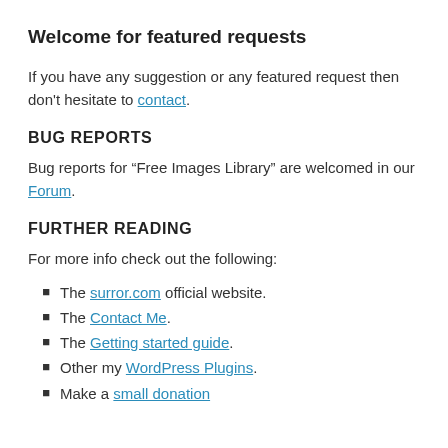Welcome for featured requests
If you have any suggestion or any featured request then don't hesitate to contact.
BUG REPORTS
Bug reports for “Free Images Library” are welcomed in our Forum.
FURTHER READING
For more info check out the following:
The surror.com official website.
The Contact Me.
The Getting started guide.
Other my WordPress Plugins.
Make a small donation